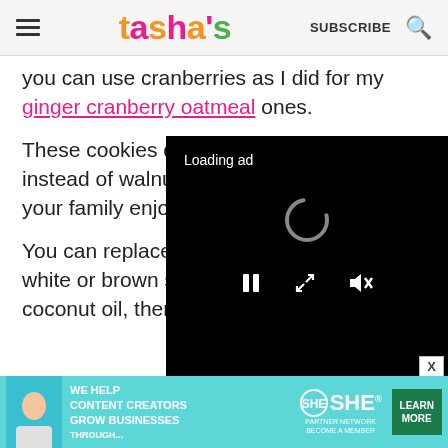tasha's — SUBSCRIBE
you can use cranberries as I did for my ginger cranberry oatmeal ones.
These cookies definitely need a crunch, so instead of walnu[ts, pick whichever nuts your family enjo[ys].
You can replace [the coconut sugar with] white or brown sugar. If you don't have coconut oil, then melted and cooled butte[r]
[Figure (screenshot): Loading ad video overlay with spinner and playback controls on black background]
[Figure (screenshot): Bottom advertisement banner: SHE Partner Network — We help content creators grow businesses through... Learn More]